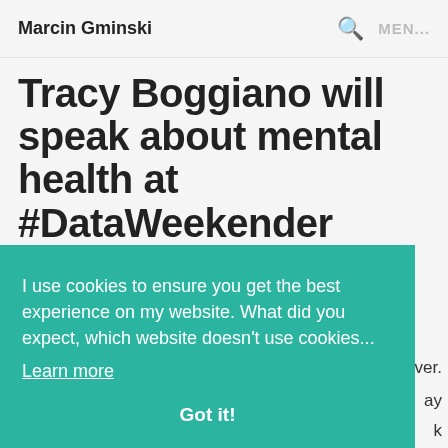Marcin Gminski
Tracy Boggiano will speak about mental health at #DataWeekender
I use cookies to ensure you get the best experience on my website. What did you expect, which website doesn't use cookies... Learn more
Got it!